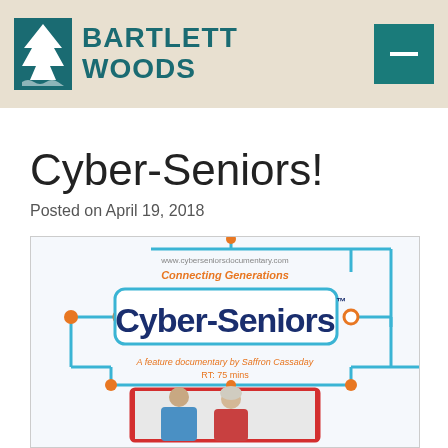BARTLETT WOODS
Cyber-Seniors!
Posted on April 19, 2018
[Figure (infographic): Cyber-Seniors documentary promotional image showing the Cyber-Seniors logo with circuit-board style design, text 'Connecting Generations', 'A feature documentary by Saffron Cassaday', 'RT: 75 mins', and a photo of a young man and elderly woman interacting, surrounded by blue circuit lines and orange dots.]